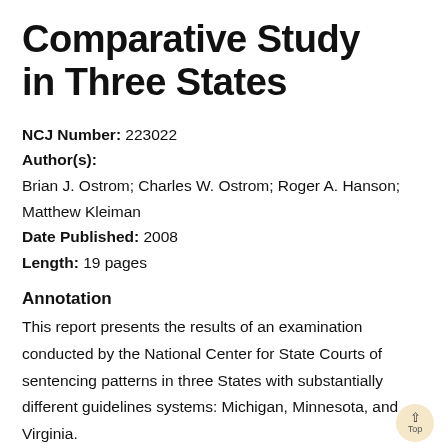Comparative Study in Three States
NCJ Number: 223022
Author(s):
Brian J. Ostrom; Charles W. Ostrom; Roger A. Hanson; Matthew Kleiman
Date Published: 2008
Length: 19 pages
Annotation
This report presents the results of an examination conducted by the National Center for State Courts of sentencing patterns in three States with substantially different guidelines systems: Michigan, Minnesota, and Virginia.